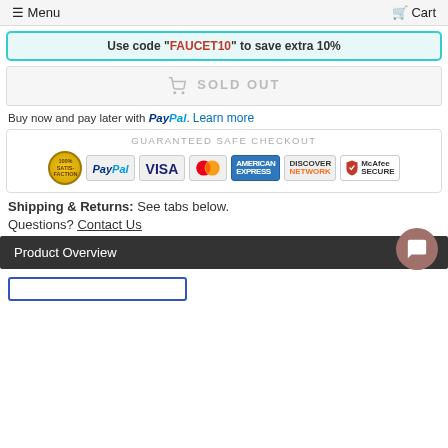≡ Menu  🛒 Cart
Use code "FAUCET10" to save extra 10%
[Figure (other): Sold Out button - grayed out shopping cart icon with SOLD OUT text]
Buy now and pay later with PayPal. Learn more
[Figure (other): Guaranteed Safe Checkout box with payment icons: 100% Satisfaction badge, PayPal, VISA, Mastercard, American Express, Discover Network, McAfee Secure]
Shipping & Returns: See tabs below.
Questions? Contact Us
Product Overview